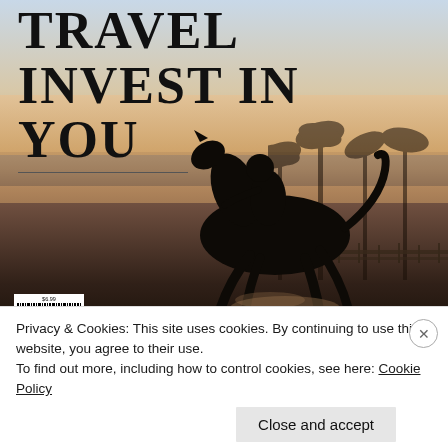[Figure (photo): Magazine back cover or advertisement showing a silhouetted horse and jockey racing at a sandy track with palm trees in the background. Large serif text overlay reads: TRAVEL / INVEST IN / YOU. A barcode is visible in the lower-left corner of the book/magazine cover.]
Privacy & Cookies: This site uses cookies. By continuing to use this website, you agree to their use.
To find out more, including how to control cookies, see here: Cookie Policy
Close and accept